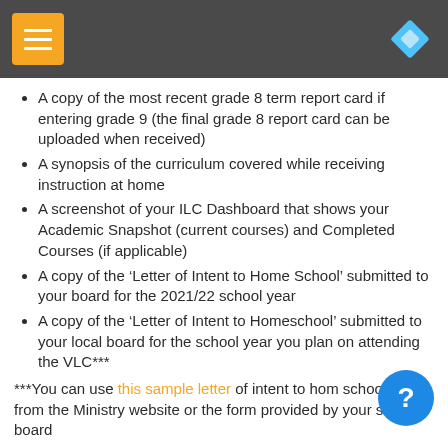Navigation header bar with hamburger menu and diamond icon
A copy of the most recent grade 8 term report card if entering grade 9 (the final grade 8 report card can be uploaded when received)
A synopsis of the curriculum covered while receiving instruction at home
A screenshot of your ILC Dashboard that shows your Academic Snapshot (current courses) and Completed Courses (if applicable)
A copy of the ‘Letter of Intent to Home School’ submitted to your board for the 2021/22 school year
A copy of the ‘Letter of Intent to Homeschool’ submitted to your local board for the school year you plan on attending the VLC***
***You can use this sample letter of intent to home school form from the Ministry website or the form provided by your school board